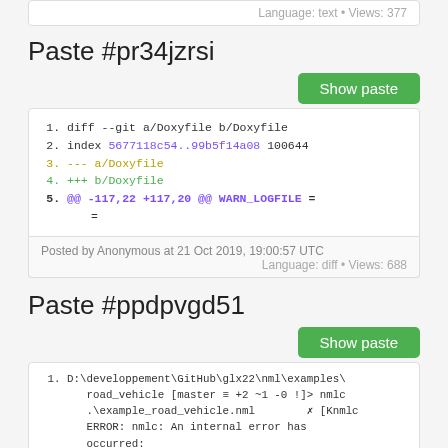Language: text • Views: 377
Paste #pr34jzrsi
Show paste
1. diff --git a/Doxyfile b/Doxyfile
2. index 5677118c54..99b5f14a08 100644
3. --- a/Doxyfile
4. +++ b/Doxyfile
5. @@ -117,22 +117,20 @@ WARN_LOGFILE =
Posted by Anonymous at 21 Oct 2019, 19:00:57 UTC
Language: diff • Views: 688
Paste #ppdpvgd51
Show paste
1. D:\developpement\GitHub\glx22\nml\examples\
   road_vehicle [master ≡ +2 ~1 -0 !]> nmlc
   .\example_road_vehicle.nml          ✗ [Knmlc
   ERROR: nmlc: An internal error has
   occurred: